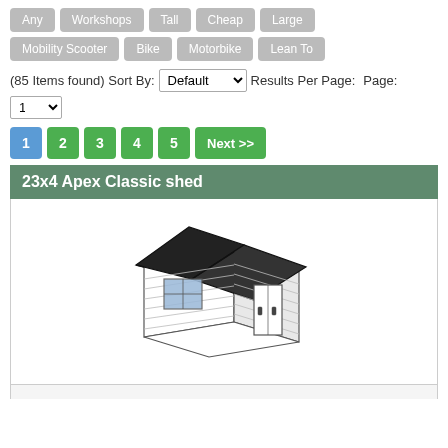Any | Workshops | Tall | Cheap | Large | Mobility Scooter | Bike | Motorbike | Lean To
(85 Items found) Sort By: Default   Results Per Page: 12
Pagination: 1 2 3 4 5 Next >>
23x4 Apex Classic shed
[Figure (illustration): 3D illustration of a classic wooden apex shed with a dark roof, window on the left side, and a door on the right side.]